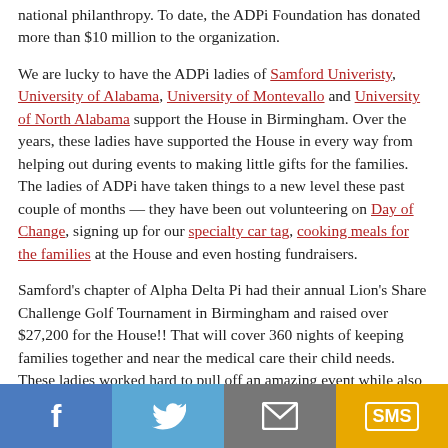national philanthropy. To date, the ADPi Foundation has donated more than $10 million to the organization.
We are lucky to have the ADPi ladies of Samford Univeristy, University of Alabama, University of Montevallo and University of North Alabama support the House in Birmingham. Over the years, these ladies have supported the House in every way from helping out during events to making little gifts for the families. The ladies of ADPi have taken things to a new level these past couple of months — they have been out volunteering on Day of Change, signing up for our specialty car tag, cooking meals for the families at the House and even hosting fundraisers.
Samford's chapter of Alpha Delta Pi had their annual Lion's Share Challenge Golf Tournament in Birmingham and raised over $27,200 for the House!! That will cover 360 nights of keeping families together and near the medical care their child needs. These ladies worked hard to pull off an amazing event while also raising awareness for the House and our mission. We are so thankful for their support.